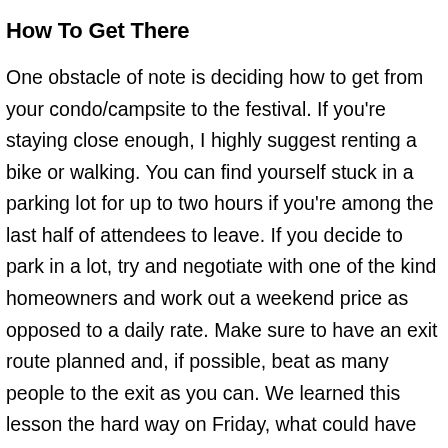How To Get There
One obstacle of note is deciding how to get from your condo/campsite to the festival. If you're staying close enough, I highly suggest renting a bike or walking. You can find yourself stuck in a parking lot for up to two hours if you're among the last half of attendees to leave. If you decide to park in a lot, try and negotiate with one of the kind homeowners and work out a weekend price as opposed to a daily rate. Make sure to have an exit route planned and, if possible, beat as many people to the exit as you can. We learned this lesson the hard way on Friday, what could have taken ten minutes ended up